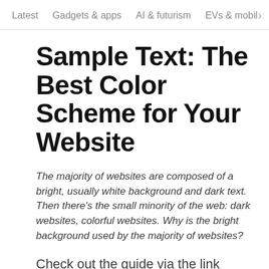Latest   Gadgets & apps   AI & futurism   EVs & mobil  >
Sample Text: The Best Color Scheme for Your Website
The majority of websites are composed of a bright, usually white background and dark text. Then there's the small minority of the web: dark websites, colorful websites. Why is the bright background used by the majority of websites?
Check out the guide via the link below. For more, you can take a look at all of TNW's typography-related posts here.
a Ultimate Guide to Blog Typography...